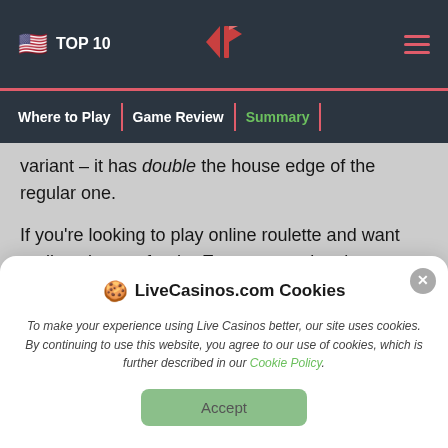TOP 10 | LiveCasinos logo | Hamburger menu
Where to Play | Game Review | Summary |
variant – it has double the house edge of the regular one.
If you're looking to play online roulette and want realism, just go for the European variant by Evolution. Or one of the dozens of great live roulette games available. No matter how you look at it, this
🍪 LiveCasinos.com Cookies
To make your experience using Live Casinos better, our site uses cookies. By continuing to use this website, you agree to our use of cookies, which is further described in our Cookie Policy.
Accept